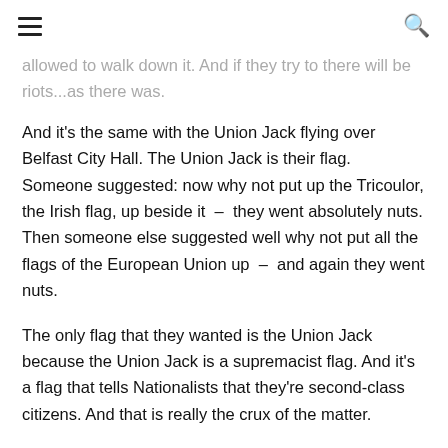≡  🔍
allowed to walk down it. And if they try to there will be riots...as there was.
And it's the same with the Union Jack flying over Belfast City Hall. The Union Jack is their flag. Someone suggested: now why not put up the Tricoulor, the Irish flag, up beside it – they went absolutely nuts. Then someone else suggested well why not put all the flags of the European Union up – and again they went nuts.
The only flag that they wanted is the Union Jack because the Union Jack is a supremacist flag. And it's a flag that tells Nationalists that they're second-class citizens. And that is really the crux of the matter.